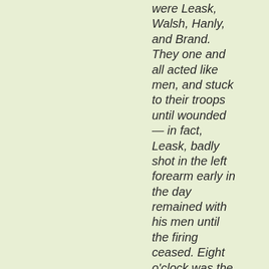were Leask, Walsh, Hanly, and Brand. They one and all acted like men, and stuck to their troops until wounded — in fact, Leask, badly shot in the left forearm early in the day remained with his men until the firing ceased. Eight o'clock was the time of commencement, and 2.30 p.m. was the first time one of us was able to stand at full length without the certainty of being shot. My